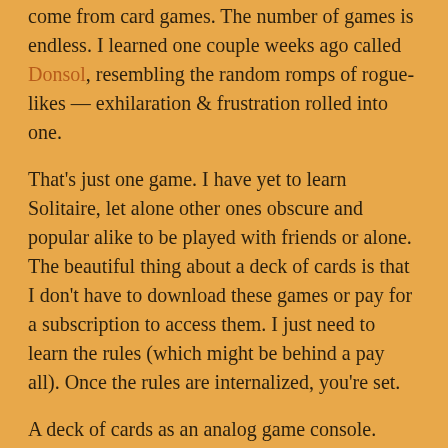come from card games. The number of games is endless. I learned one couple weeks ago called Donsol, resembling the random romps of rogue-likes — exhilaration & frustration rolled into one.
That's just one game. I have yet to learn Solitaire, let alone other ones obscure and popular alike to be played with friends or alone. The beautiful thing about a deck of cards is that I don't have to download these games or pay for a subscription to access them. I just need to learn the rules (which might be behind a pay all). Once the rules are internalized, you're set.
A deck of cards as an analog game console.
Fortunate Misapplication
July 27, 2021